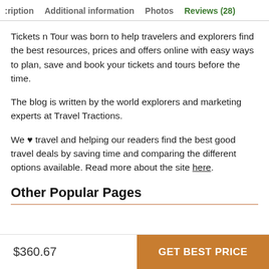ription   Additional information   Photos   Reviews (28)
Tickets n Tour was born to help travelers and explorers find the best resources, prices and offers online with easy ways to plan, save and book your tickets and tours before the time.
The blog is written by the world explorers and marketing experts at Travel Tractions.
We ♥ travel and helping our readers find the best good travel deals by saving time and comparing the different options available. Read more about the site here.
Other Popular Pages
$360.67
GET BEST PRICE